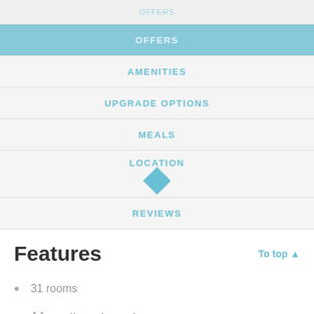OFFERS
OFFERS
AMENITIES
UPGRADE OPTIONS
MEALS
LOCATION
REVIEWS
Features
To top ▲
31 rooms
AA rosette restaurant
lounge